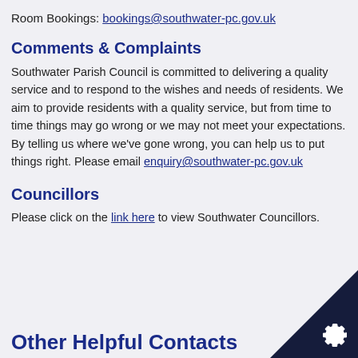Room Bookings: bookings@southwater-pc.gov.uk
Comments & Complaints
Southwater Parish Council is committed to delivering a quality service and to respond to the wishes and needs of residents. We aim to provide residents with a quality service, but from time to time things may go wrong or we may not meet your expectations. By telling us where we've gone wrong, you can help us to put things right. Please email enquiry@southwater-pc.gov.uk
Councillors
Please click on the link here to view Southwater Councillors.
Other Helpful Contacts